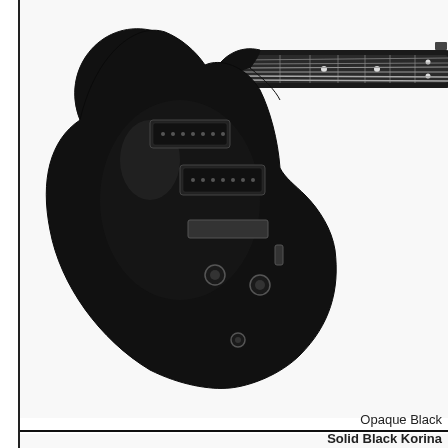[Figure (photo): Electric guitar with black finish (Opaque Black) shown from above, body and partial neck visible against white background]
Opaque Black
[Figure (photo): Electric guitar with natural wood grain finish (Solid Black Korina) shown from above, body and partial neck visible, gold hardware]
Solid Black Korina